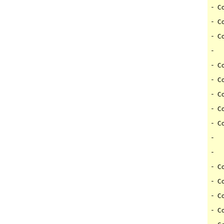- ConfDeadline:=
- ConfURL:="http://www.acm.org/toi
- ConfNote:=""
-
- ConfName:="ICDM2003"
- ConfAddress:="Melbourne, Florida
- ConfDeadline:="10-6-2003"
- ConfURL:="http://www.cs.uvm.edu/
- ConfNote:=""
-
-
- ConfName:="CIKM2003"
- ConfAddress:="New Orleans, LA, U
- ConfDeadline:="20-5-2003"
- ConfURL:="http://bit.csc.lsu.edu
- ConfNote:=""
-
-
- ConfName:="PACLING"
- ConfAddress:="Dalhousie Universi
- ConfDeadline:="7-3-2003"
- ConfURL:="http://www.cs.dal.ca/~
- ConfNote:=""
-
- ConfName:="EMNLP2003 (Empirical